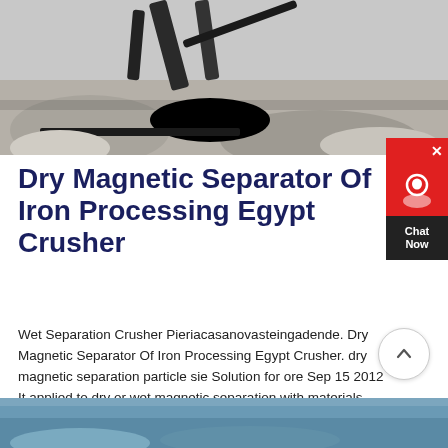[Figure (photo): Photograph of mining/crushing equipment with rocks and machinery, grey tones]
Dry Magnetic Separator Of Iron Processing Egypt Crusher
Wet Separation Crusher Pieriacasanovasteingadende. Dry Magnetic Separator Of Iron Processing Egypt Crusher. dry magnetic separation particle sie Solution for ore Sep 15 2012 It applied to dry or wet magnetic separation with materials particle sie under 3mm such as magnetic iron ore Magnetic pyrite mine baking and titanium iron coal Drum Magnetic SeparatorsGold Ore Crusher.
[Figure (photo): Partial photograph visible at bottom of page, showing blue/grey tones of mining or industrial scene]